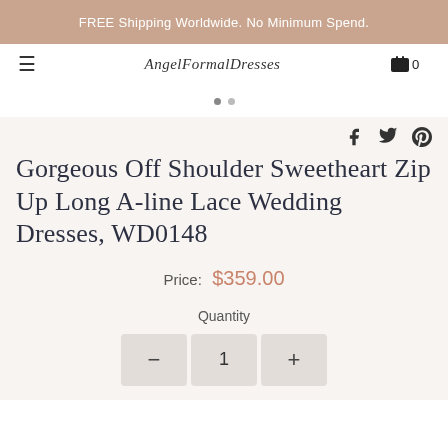FREE Shipping Worldwide. No Minimum Spend.
AngelFormalDresses
≡    🛒 0
[Figure (other): Carousel dot indicators, two dots]
[Figure (other): Social share icons: Facebook, Twitter, Pinterest]
Gorgeous Off Shoulder Sweetheart Zip Up Long A-line Lace Wedding Dresses, WD0148
Price: $359.00
Quantity
− 1 +